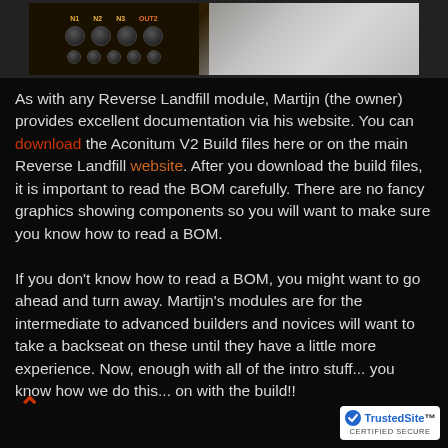[Figure (photo): Top strip showing two photos side by side: left photo shows a dark synthesizer module with knobs labeled N1, N2, N3, OUT2 and rows of black knobs; right photo shows components in a clear plastic bag.]
As with any Reverse Landfill module, Martijn (the owner) provides excellent documentation via his website. You can download the Aconitum V2 Build files here or on the main Reverse Landfill website. After you download the build files, it is important to read the BOM carefully. There are no fancy graphics showing components so you will want to make sure you know how to read a BOM.
If you don't know how to read a BOM, you might want to go ahead and turn away. Martijn's modules are for the intermediate to advanced builders and novices will want to take a backseat on these until they have a little more experience. Now, enough with all of the intro stuff... you know how we do this... on with the build!!